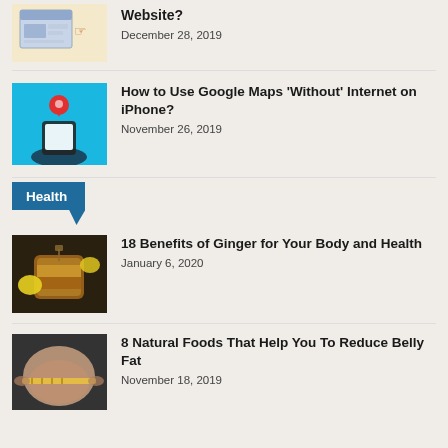[Figure (illustration): Thumbnail image of a website wireframe with a hand pointing to it]
Website?
December 28, 2019
[Figure (illustration): Thumbnail image showing a hand holding a phone with a map pin, against a cyan background]
How to Use Google Maps 'Without' Internet on iPhone?
November 26, 2019
Health
[Figure (photo): Thumbnail photo of ginger tea in a glass mug with lemons]
18 Benefits of Ginger for Your Body and Health
January 6, 2020
[Figure (photo): Thumbnail photo of a person measuring belly fat with a tape measure]
8 Natural Foods That Help You To Reduce Belly Fat
November 18, 2019